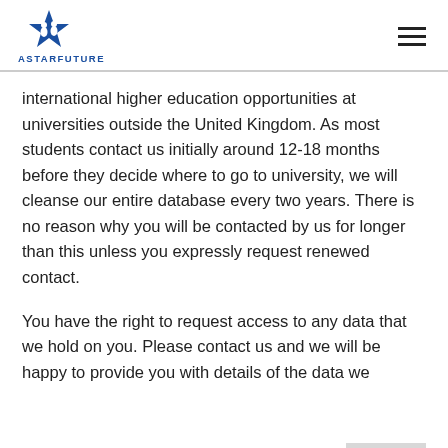ASTARFUTURE
international higher education opportunities at universities outside the United Kingdom. As most students contact us initially around 12-18 months before they decide where to go to university, we will cleanse our entire database every two years. There is no reason why you will be contacted by us for longer than this unless you expressly request renewed contact.
You have the right to request access to any data that we hold on you. Please contact us and we will be happy to provide you with details of the data we